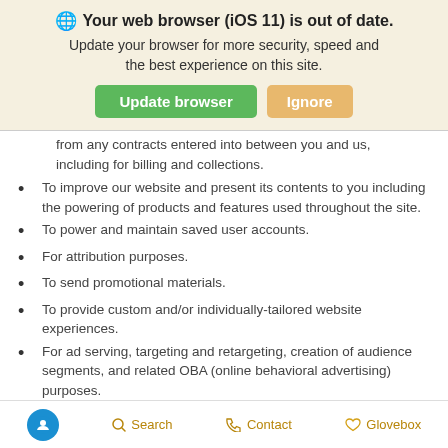[Figure (screenshot): Browser update notification banner with globe icon, bold title 'Your web browser (iOS 11) is out of date.', subtitle text, and two buttons: 'Update browser' (green) and 'Ignore' (gold/tan)]
from any contracts entered into between you and us, including for billing and collections.
To improve our website and present its contents to you including the powering of products and features used throughout the site.
To power and maintain saved user accounts.
For attribution purposes.
To send promotional materials.
To provide custom and/or individually-tailored website experiences.
For ad serving, targeting and retargeting, creation of audience segments, and related OBA (online behavioral advertising) purposes.
Accessibility  Search  Contact  Glovebox